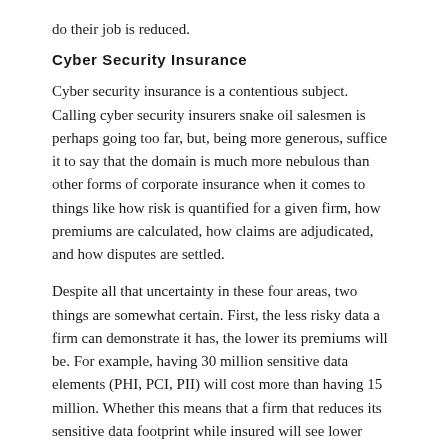do their job is reduced.
Cyber Security Insurance
Cyber security insurance is a contentious subject. Calling cyber security insurers snake oil salesmen is perhaps going too far, but, being more generous, suffice it to say that the domain is much more nebulous than other forms of corporate insurance when it comes to things like how risk is quantified for a given firm, how premiums are calculated, how claims are adjudicated, and how disputes are settled.
Despite all that uncertainty in these four areas, two things are somewhat certain. First, the less risky data a firm can demonstrate it has, the lower its premiums will be. For example, having 30 million sensitive data elements (PHI, PCI, PII) will cost more than having 15 million. Whether this means that a firm that reduces its sensitive data footprint while insured will see lower (versus simply flat) premiums year over year is debatable. But the costs will certainly be lower than if it left this sensitive data unaddressed.